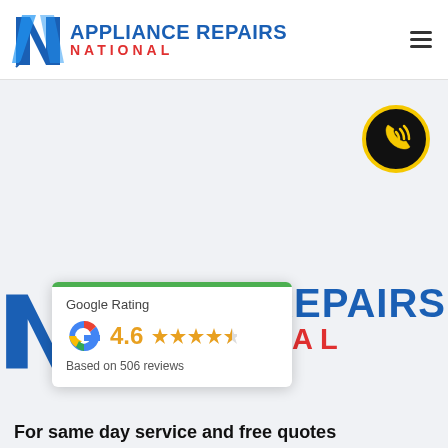[Figure (logo): Appliance Repairs National logo with blue N-shaped icon and blue/red text]
[Figure (illustration): Hamburger menu icon (three horizontal lines)]
[Figure (illustration): Yellow and black circular phone/call button icon]
[Figure (illustration): Google Rating card showing 4.6 stars based on 506 reviews with green top bar]
[Figure (logo): Large Appliance Repairs National text logo in blue and red]
For same day service and free quotes